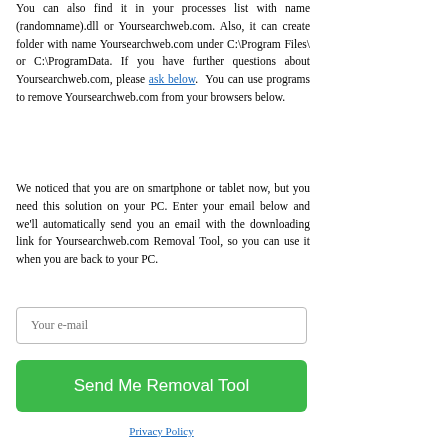You can also find it in your processes list with name (randomname).dll or Yoursearchweb.com. Also, it can create folder with name Yoursearchweb.com under C:\Program Files\ or C:\ProgramData. If you have further questions about Yoursearchweb.com, please ask below. You can use programs to remove Yoursearchweb.com from your browsers below.
We noticed that you are on smartphone or tablet now, but you need this solution on your PC. Enter your email below and we'll automatically send you an email with the downloading link for Yoursearchweb.com Removal Tool, so you can use it when you are back to your PC.
Your e-mail
Send Me Removal Tool
Privacy Policy